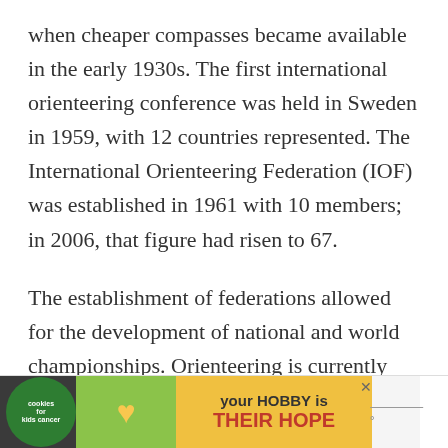when cheaper compasses became available in the early 1930s. The first international orienteering conference was held in Sweden in 1959, with 12 countries represented. The International Orienteering Federation (IOF) was established in 1961 with 10 members; in 2006, that figure had risen to 67.
The establishment of federations allowed for the development of national and world championships. Orienteering is currently included in
[Figure (other): Advertisement banner: 'your HOBBY is their HOPE' with cookies for kids cancer logo and image of hands holding a heart-shaped cookie]